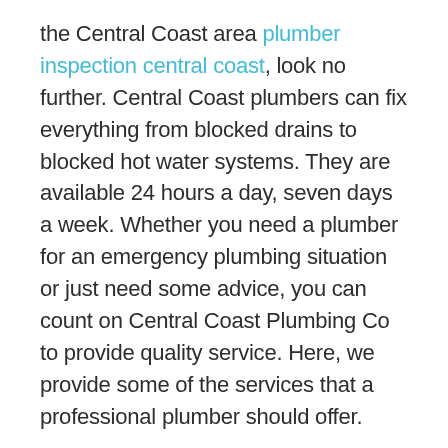the Central Coast area plumber inspection central coast, look no further. Central Coast plumbers can fix everything from blocked drains to blocked hot water systems. They are available 24 hours a day, seven days a week. Whether you need a plumber for an emergency plumbing situation or just need some advice, you can count on Central Coast Plumbing Co to provide quality service. Here, we provide some of the services that a professional plumber should offer.
Plumbing services offered by Central Coast plumbers range from residential plumbing to commercial guttering and stormwater system repairs. In addition, most plumbing companies